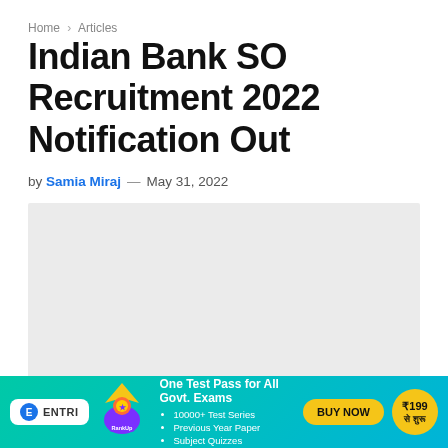Home > Articles
Indian Bank SO Recruitment 2022 Notification Out
by Samia Miraj — May 31, 2022
[Figure (other): Gray placeholder image area for article content]
[Figure (infographic): ENTRI advertisement banner: One Test Pass for All Govt. Exams. 10000+ Test Series, Previous Year Paper, Subject Quizzes. BUY NOW. ₹199 से शुरू]